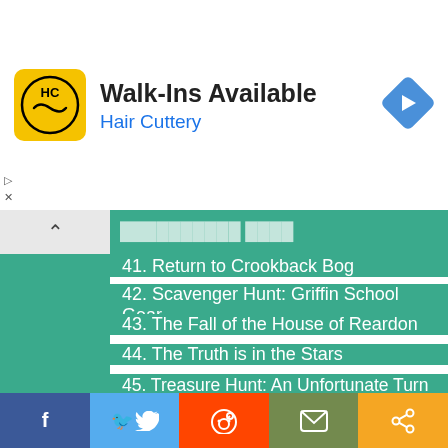[Figure (illustration): Advertisement banner for Hair Cuttery showing logo, 'Walk-Ins Available' text, and a navigation arrow icon]
41. Return to Crookback Bog
42. Scavenger Hunt: Griffin School Gear
43. The Fall of the House of Reardon
44. The Truth is in the Stars
45. Treasure Hunt: An Unfortunate Turn of Events
46. Treasure Hunt: A Costly Mistake
47. Treasure Hunt: Blood Gold
48. Treasure Hunt: Hidden From the World
49. Treasure Hunt: Lost Goods
50. Treasure Hunt: Out of the Frying Pan, Into the Fire